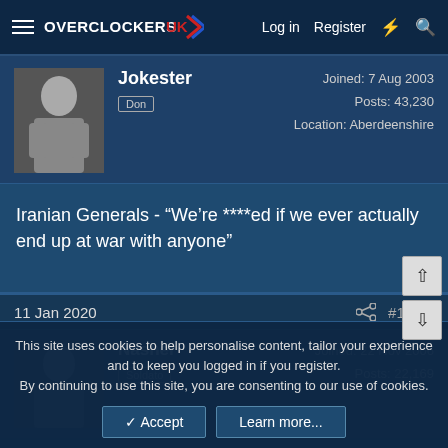Overclockers UK — Log in | Register
Jokester
Don
Joined: 7 Aug 2003
Posts: 43,230
Location: Aberdeenshire
Iranian Generals - “We’re ****ed if we ever actually end up at war with anyone”
11 Jan 2020  #1,465
Nasher
Soldato
Joined: 22 Nov 2006
Posts: 22,169
This site uses cookies to help personalise content, tailor your experience and to keep you logged in if you register.
By continuing to use this site, you are consenting to our use of cookies.